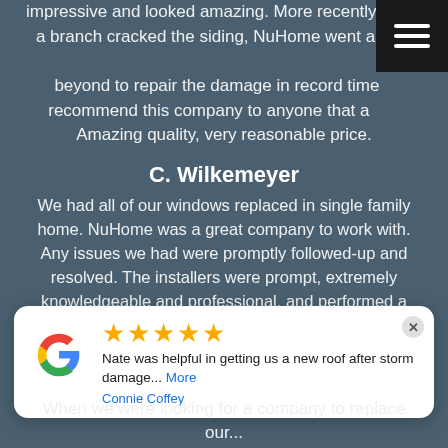impressive and looked amazing. More recently when a branch cracked the siding, NuHome went above and beyond to repair the damage in record time. I recommend this company to anyone that asks. Amazing quality, very reasonable price.
C. Wilkemeyer
We had all of our windows replaced in single family home. NuHome was a great company to work with. Any issues we had were promptly followed-up and resolved. The installers were prompt, extremely knowledgeable and professional, and performed a great job.
P. Jackson
NuHome did a great job on my roofing if need a roof ...do
[Figure (other): Google review popup showing 5 stars, text 'Nate was helpful in getting us a new roof after storm damage... More', reviewer name 'Connie Coffey']
When we were looking for a company to replace our...